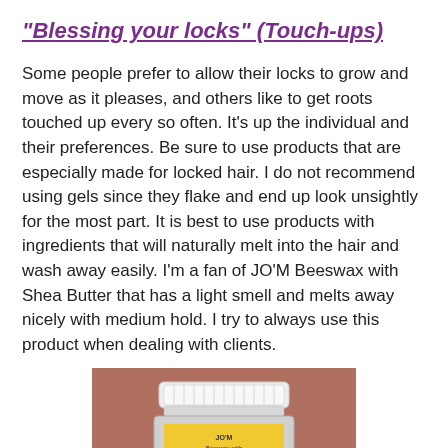"Blessing your locks" (Touch-ups)
Some people prefer to allow their locks to grow and move as it pleases, and others like to get roots touched up every so often. It’s up the individual and their preferences. Be sure to use products that are especially made for locked hair. I do not recommend using gels since they flake and end up look unsightly for the most part. It is best to use products with ingredients that will naturally melt into the hair and wash away easily. I’m a fan of JO’M Beeswax with Shea Butter that has a light smell and melts away nicely with medium hold. I try to always use this product when dealing with clients.
[Figure (photo): Photo of a small jar of JO'M Beeswax with Shea Butter product against a brownish-pink background. The jar has a white ribbed lid and a yellow label.]